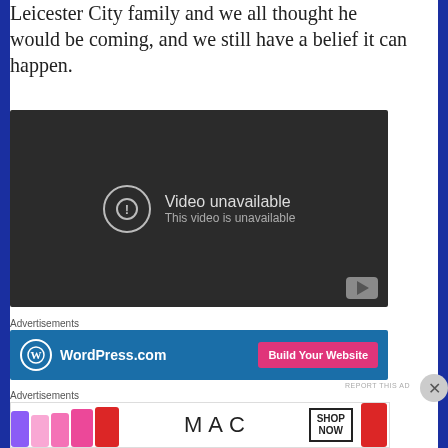Leicester City family and we all thought he would be coming, and we still have a belief it can happen.
[Figure (screenshot): Embedded YouTube video player showing 'Video unavailable' error message with a circle exclamation icon and YouTube watermark logo in the bottom right corner. Background is dark gray/black.]
Advertisements
[Figure (screenshot): WordPress.com advertisement banner with blue background, WordPress logo on left, 'WordPress.com' text in white, and a pink 'Build Your Website' button on the right.]
Advertisements
[Figure (screenshot): MAC cosmetics advertisement banner showing colorful lipsticks on the left, MAC logo text in center, and a 'SHOP NOW' box on the right with a red lipstick on the far right.]